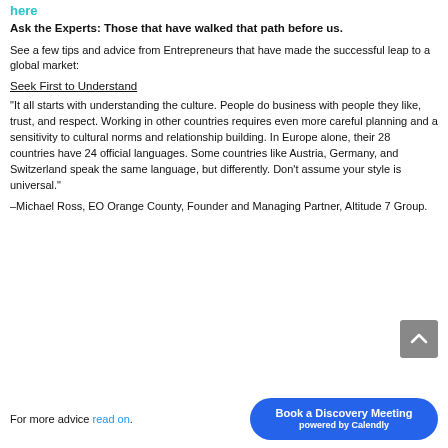here
Ask the Experts: Those that have walked that path before us.
See a few tips and advice from Entrepreneurs that have made the successful leap to a global market:
Seek First to Understand
“It all starts with understanding the culture. People do business with people they like, trust, and respect. Working in other countries requires even more careful planning and a sensitivity to cultural norms and relationship building. In Europe alone, their 28 countries have 24 official languages. Some countries like Austria, Germany, and Switzerland speak the same language, but differently. Don’t assume your style is universal.”
–Michael Ross, EO Orange County, Founder and Managing Partner, Altitude 7 Group.
For more advice read on.